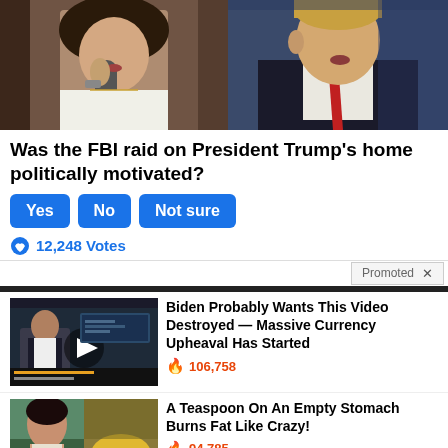[Figure (photo): Two photos side by side: left shows a woman holding a microphone, right shows a man in a dark suit with a red tie speaking.]
Was the FBI raid on President Trump's home politically motivated?
Yes
No
Not sure
12,248 Votes
Promoted X
[Figure (photo): Thumbnail of a man on TV studio set with a play button overlay.]
Biden Probably Wants This Video Destroyed — Massive Currency Upheaval Has Started
106,758
[Figure (photo): Thumbnail of a woman in crop top beside a pile of yellow spice powder.]
A Teaspoon On An Empty Stomach Burns Fat Like Crazy!
94,785